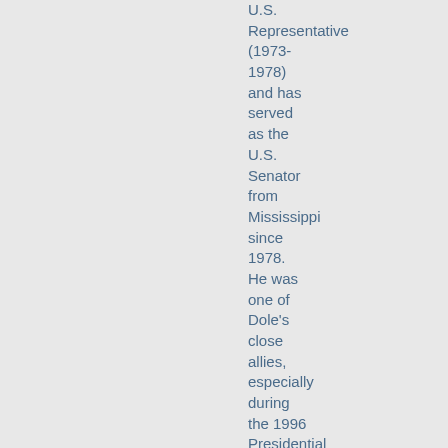U.S. Representative (1973-1978) and has served as the U.S. Senator from Mississippi since 1978. He was one of Dole's close allies, especially during the 1996 Presidential campaign.

Interview length: 1:02:22

In this 2007 oral history interview,